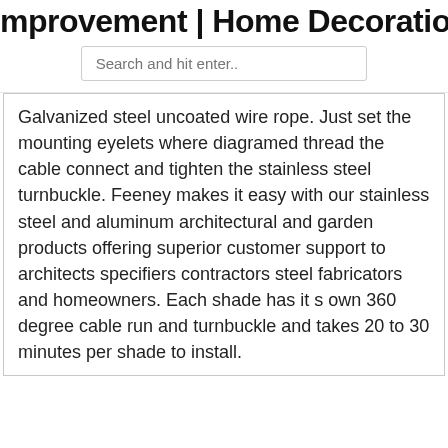mprovement | Home Decorations and
Search and hit enter..
Galvanized steel uncoated wire rope. Just set the mounting eyelets where diagramed thread the cable connect and tighten the stainless steel turnbuckle. Feeney makes it easy with our stainless steel and aluminum architectural and garden products offering superior customer support to architects specifiers contractors steel fabricators and homeowners. Each shade has it s own 360 degree cable run and turnbuckle and takes 20 to 30 minutes per shade to install.